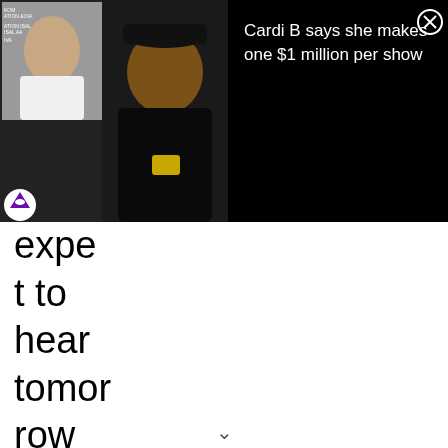[Figure (screenshot): Video thumbnail on left showing a woman (Cardi B) in a small left panel and a bearded man smiling in the main panel, with a black news overlay panel on the right displaying: 'Cardi B says she makes one $1 million per show' with a close (X) button.]
expect to hear tomorrow night, Jazzy Jeff said, “I think what’s great is somebody like Sat, who’s a resident, has kind of already got the crowd into wanting to hear a little bit of everything. Once you know that this